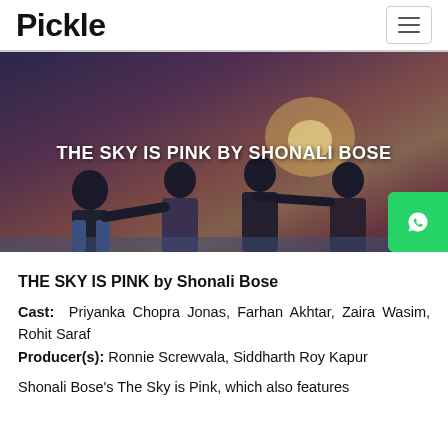Pickle
[Figure (photo): Group of four people standing on a beach with backs to camera, silhouetted against a sunset sky. Overlaid text: THE SKY IS PINK BY SHONALI BOSE]
THE SKY IS PINK by Shonali Bose
Cast: Priyanka Chopra Jonas, Farhan Akhtar, Zaira Wasim, Rohit Saraf
Producer(s): Ronnie Screwvala, Siddharth Roy Kapur
Shonali Bose's The Sky is Pink, which also features